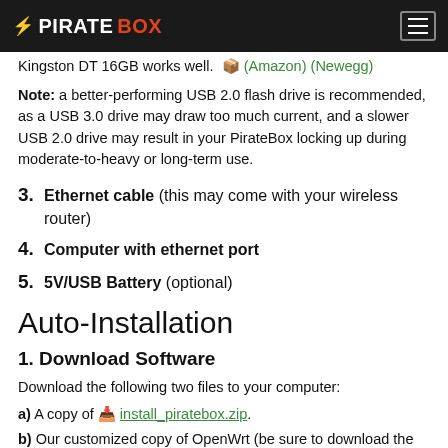⚡ PIRATEBOX
Kingston DT 16GB works well. (Amazon) (Newegg)
Note: a better-performing USB 2.0 flash drive is recommended, as a USB 3.0 drive may draw too much current, and a slower USB 2.0 drive may result in your PirateBox locking up during moderate-to-heavy or long-term use.
3. Ethernet cable (this may come with your wireless router)
4. Computer with ethernet port
5. 5V/USB Battery (optional)
Auto-Installation
1. Download Software
Download the following two files to your computer:
a) A copy of install_piratebox.zip.
b) Our customized copy of OpenWrt (be sure to download the "*squashfs-factory.bin" file that corresponds with your specific